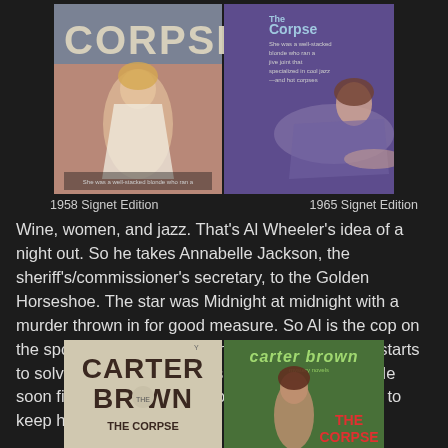[Figure (photo): Two book covers side by side: 1958 Signet Edition and 1965 Signet Edition of 'The Corpse' by Carter Brown]
1958 Signet Edition	1965 Signet Edition
Wine, women, and jazz. That's Al Wheeler's idea of a night out. So he takes Annabelle Jackson, the sheriff's/commissioner's secretary, to the Golden Horseshoe. The star was Midnight at midnight with a murder thrown in for good measure. So Al is the cop on the spot. On the sheriff/commissioner's orders he starts to solve the case in his unusual unorthodox way. He soon finds himself out of a job with another corpse to keep him company.
[Figure (photo): Two more book covers side by side: Carter Brown 'The Corpse' in different editions]